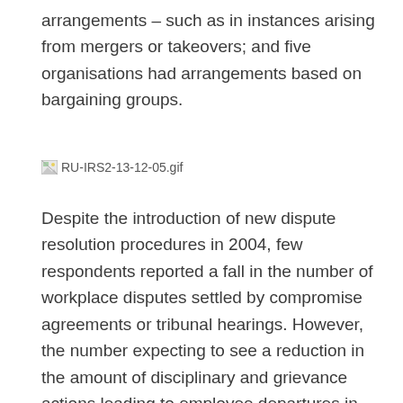arrangements – such as in instances arising from mergers or takeovers; and five organisations had arrangements based on bargaining groups.
[Figure (other): Broken image placeholder labeled RU-IRS2-13-12-05.gif]
Despite the introduction of new dispute resolution procedures in 2004, few respondents reported a fall in the number of workplace disputes settled by compromise agreements or tribunal hearings. However, the number expecting to see a reduction in the amount of disciplinary and grievance actions leading to employee departures in the next two years was higher than the number expecting an increase.